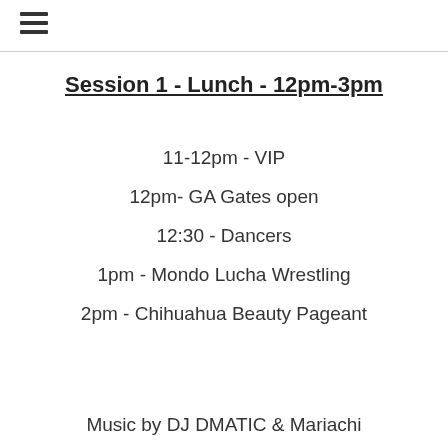≡
Session 1 - Lunch - 12pm-3pm
11-12pm - VIP
12pm- GA Gates open
12:30 - Dancers
1pm - Mondo Lucha Wrestling
2pm - Chihuahua Beauty Pageant
Music by DJ DMATIC & Mariachi